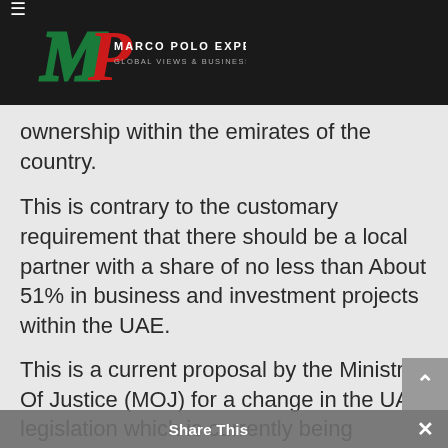Marco Polo Experience — Global Views & Business Strategies
ownership within the emirates of the country.
This is contrary to the customary requirement that there should be a local partner with a share of no less than About 51% in business and investment projects within the UAE.
This is a current proposal by the Ministry Of Justice (MOJ) for a change in the UAE legislation which is currently being finalised to become law. An announcement